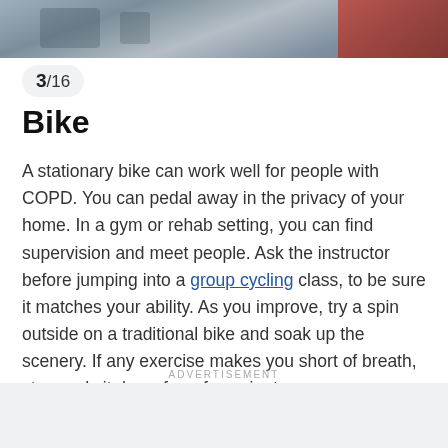[Figure (photo): Photo of gym equipment, exercise bikes in background, person in red jacket visible on right]
3/16
Bike
A stationary bike can work well for people with COPD. You can pedal away in the privacy of your home. In a gym or rehab setting, you can find supervision and meet people. Ask the instructor before jumping into a group cycling class, to be sure it matches your ability. As you improve, try a spin outside on a traditional bike and soak up the scenery. If any exercise makes you short of breath, stop and sit down for a few minutes.
ADVERTISEMENT